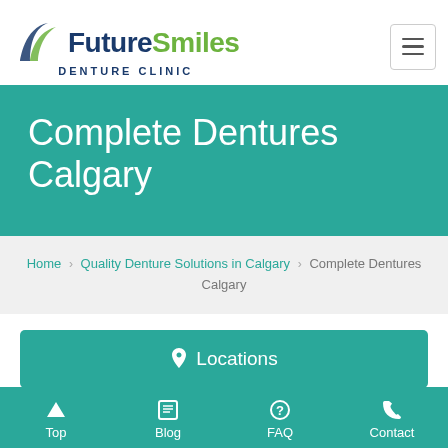[Figure (logo): FutureSmiles Denture Clinic logo with stylized tooth/swoosh graphic in navy and green]
Complete Dentures Calgary
Home › Quality Denture Solutions in Calgary › Complete Dentures Calgary
📍 Locations
Top | Blog | FAQ | Contact